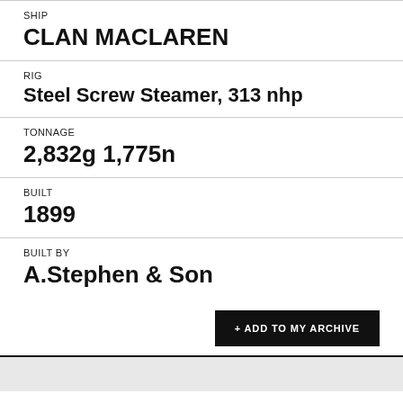SHIP
CLAN MACLAREN
RIG
Steel Screw Steamer, 313 nhp
TONNAGE
2,832g 1,775n
BUILT
1899
BUILT BY
A.Stephen & Son
+ ADD TO MY ARCHIVE